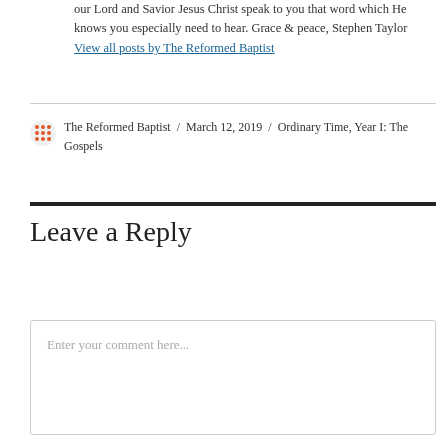our Lord and Savior Jesus Christ speak to you that word which He knows you especially need to hear. Grace & peace, Stephen Taylor
View all posts by The Reformed Baptist
The Reformed Baptist / March 12, 2019 / Ordinary Time, Year I: The Gospels
Leave a Reply
Enter your comment here...